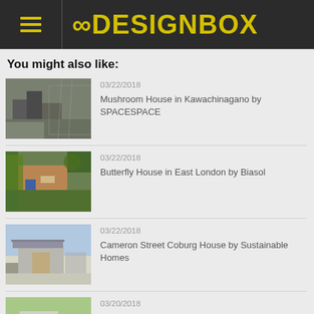8DESIGNBOX
You might also like:
[Figure (photo): Mushroom House in Kawachinagano exterior street view]
03/22/2018
Mushroom House in Kawachinagano by SPACESPACE
[Figure (photo): Butterfly House in East London exterior with garden]
03/22/2018
Butterfly House in East London by Biasol
[Figure (photo): Cameron Street Coburg House modern architecture exterior]
03/22/2018
Cameron Street Coburg House by Sustainable Homes
[Figure (photo): Bowling Lane House exterior with people and green field]
03/20/2018
Bowling Lane House by Studio North